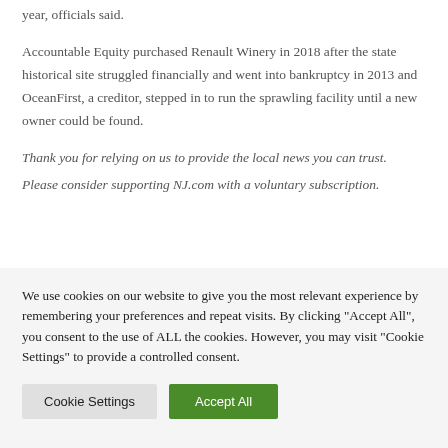year, officials said.
Accountable Equity purchased Renault Winery in 2018 after the state historical site struggled financially and went into bankruptcy in 2013 and OceanFirst, a creditor, stepped in to run the sprawling facility until a new owner could be found.
Thank you for relying on us to provide the local news you can trust. Please consider supporting NJ.com with a voluntary subscription.
We use cookies on our website to give you the most relevant experience by remembering your preferences and repeat visits. By clicking "Accept All", you consent to the use of ALL the cookies. However, you may visit "Cookie Settings" to provide a controlled consent.